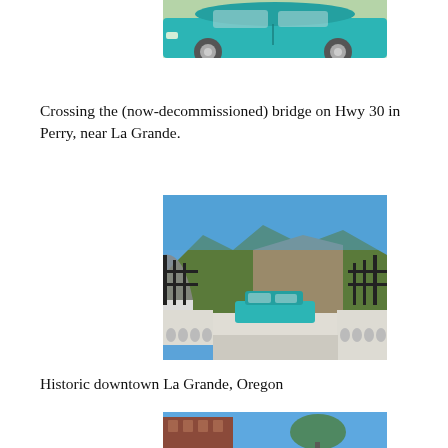[Figure (photo): Teal/turquoise colored car (partial view, top portion cropped) — side profile view in a parking lot]
Crossing the (now-decommissioned) bridge on Hwy 30 in Perry, near La Grande.
[Figure (photo): Teal car crossing a historic arched bridge with iron railings, forested hillside and blue sky in background, in Perry near La Grande, Oregon]
Historic downtown La Grande, Oregon
[Figure (photo): Partial view of historic downtown La Grande, Oregon — brick building with blue sky and tree]